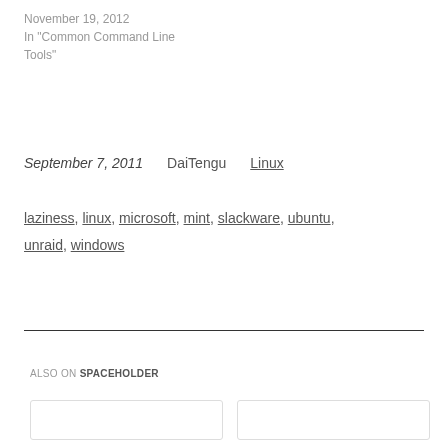November 19, 2012
In "Common Command Line Tools"
September 7, 2011    DaiTengu    Linux
laziness, linux, microsoft, mint, slackware, ubuntu, unraid, windows
ALSO ON SPACEHOLDER